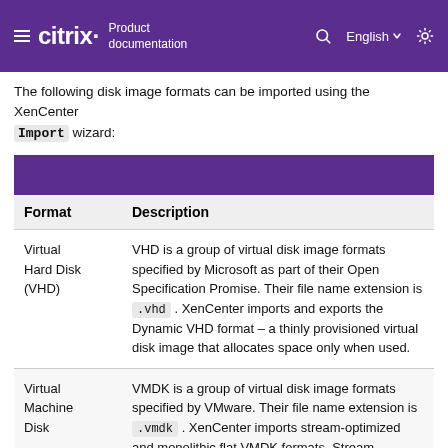Citrix Product documentation | English
The following disk image formats can be imported using the XenCenter Import wizard:
| Format | Description |
| --- | --- |
| Virtual Hard Disk (VHD) | VHD is a group of virtual disk image formats specified by Microsoft as part of their Open Specification Promise. Their file name extension is .vhd . XenCenter imports and exports the Dynamic VHD format – a thinly provisioned virtual disk image that allocates space only when used. |
| Virtual Machine Disk | VMDK is a group of virtual disk image formats specified by VMware. Their file name extension is .vmdk . XenCenter imports stream-optimized and monolithic flat VMDK formats. Stream-optimized VMDK is the format used by OVF packages produced for |